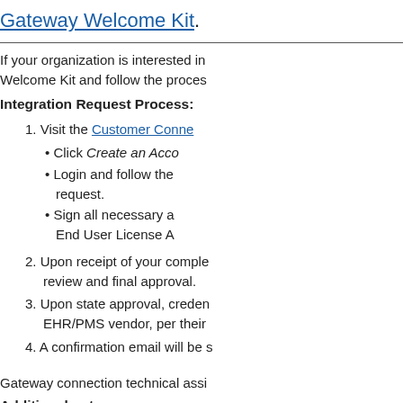Gateway Welcome Kit.
If your organization is interested in Welcome Kit and follow the proces
Integration Request Process:
1. Visit the Customer Conne
• Click Create an Acco
• Login and follow the request.
• Sign all necessary a End User License A
2. Upon receipt of your comple review and final approval.
3. Upon state approval, creden EHR/PMS vendor, per their
4. A confirmation email will be s
Gateway connection technical assi
Additional notes